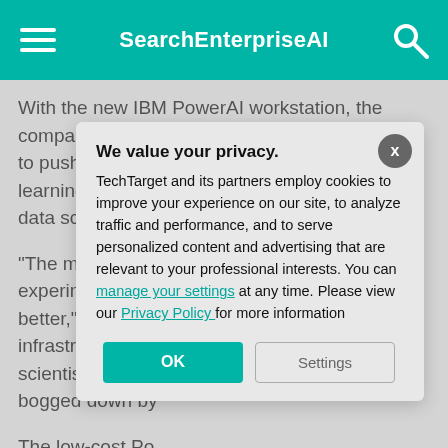SearchEnterpriseAI
With the new IBM PowerAI workstation, the company becomes the latest entrant in the race to push artificial intelligence and machine learning technologies closer to where data and data scientists live.
"The more powe... experiment with... better," said Chi... infrastructure an... scientists to be d... bogged down by...
The low-cost Po... Power AI DevBo... built, which was... Computing Syste... developers to cr...
We value your privacy. TechTarget and its partners employ cookies to improve your experience on our site, to analyze traffic and performance, and to serve personalized content and advertising that are relevant to your professional interests. You can manage your settings at any time. Please view our Privacy Policy for more information